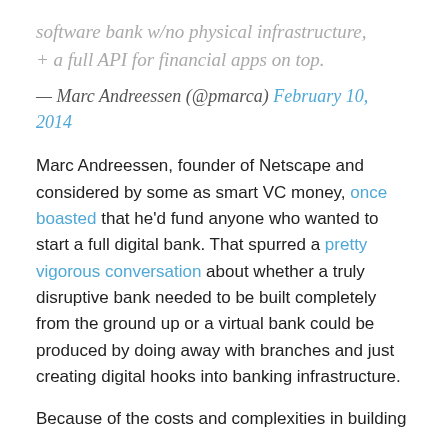software bank w/no physical infrastructure, + a full API for financial apps on top.
— Marc Andreessen (@pmarca) February 10, 2014
Marc Andreessen, founder of Netscape and considered by some as smart VC money, once boasted that he'd fund anyone who wanted to start a full digital bank. That spurred a pretty vigorous conversation about whether a truly disruptive bank needed to be built completely from the ground up or a virtual bank could be produced by doing away with branches and just creating digital hooks into banking infrastructure.
Because of the costs and complexities in building